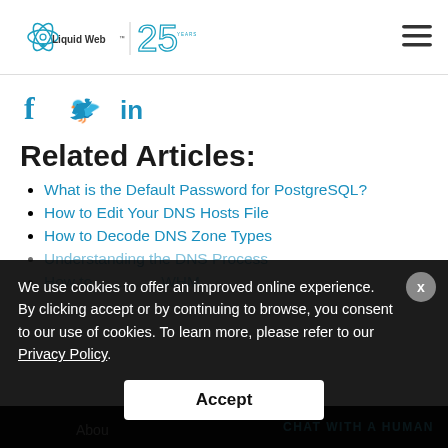Liquid Web 25 Years logo and hamburger menu
[Figure (logo): Liquid Web 25 Years logo on left, hamburger menu icon on right]
[Figure (infographic): Social share icons: Facebook (f), Twitter (bird), LinkedIn (in) in teal/blue]
Related Articles:
What is the Default Password for PostgreSQL?
How to Edit Your DNS Hosts File
How to Decode DNS Zone Types
Understanding the DNS Process
How to ... WHM
How to ... on Ubuntu ...
We use cookies to offer an improved online experience. By clicking accept or by continuing to browse, you consent to our use of cookies. To learn more, please refer to our Privacy Policy.
Accept
CHAT WITH A HUMAN
About